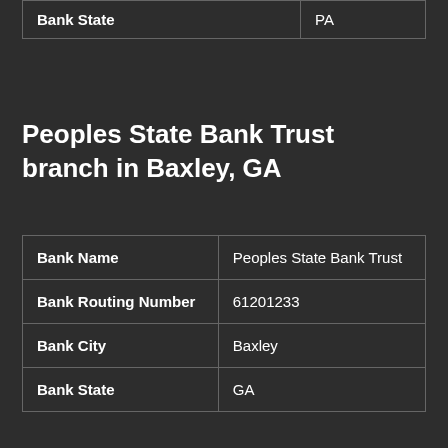| Bank State | PA |
Peoples State Bank Trust branch in Baxley, GA
| Bank Name | Peoples State Bank Trust |
| Bank Routing Number | 61201233 |
| Bank City | Baxley |
| Bank State | GA |